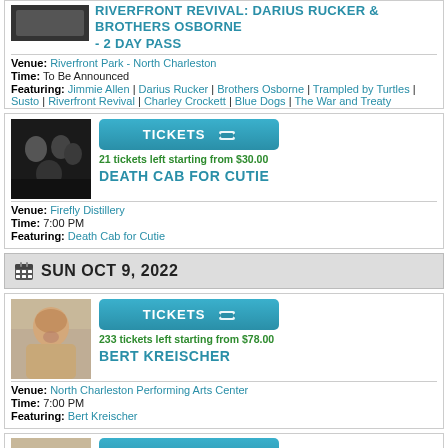RIVERFRONT REVIVAL: DARIUS RUCKER & BROTHERS OSBORNE - 2 DAY PASS
Venue: Riverfront Park - North Charleston
Time: To Be Announced
Featuring: Jimmie Allen | Darius Rucker | Brothers Osborne | Trampled by Turtles | Susto | Riverfront Revival | Charley Crockett | Blue Dogs | The War and Treaty
[Figure (photo): Black and white group photo of band members]
TICKETS
21 tickets left starting from $30.00
DEATH CAB FOR CUTIE
Venue: Firefly Distillery
Time: 7:00 PM
Featuring: Death Cab for Cutie
SUN OCT 9, 2022
[Figure (photo): Photo of Bert Kreischer, bearded man in tan shirt]
TICKETS
233 tickets left starting from $78.00
BERT KREISCHER
Venue: North Charleston Performing Arts Center
Time: 7:00 PM
Featuring: Bert Kreischer
[Figure (photo): Photo of performer, partial view at bottom]
TICKETS